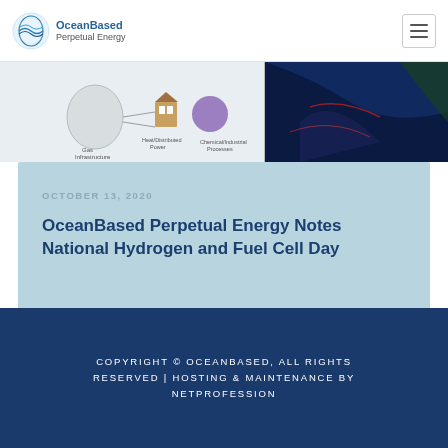OceanBased Perpetual Energy
[Figure (photo): Partial view of a hydrogen/fuel cell energy diagram on the left with a satellite or ocean imagery on the right, shown as a horizontal image strip.]
OCTOBER 13, 2020
OceanBased Perpetual Energy Notes National Hydrogen and Fuel Cell Day
COPYRIGHT © OCEANBASED, ALL RIGHTS RESERVED | HOSTING & MAINTENANCE BY NETPROFESSION